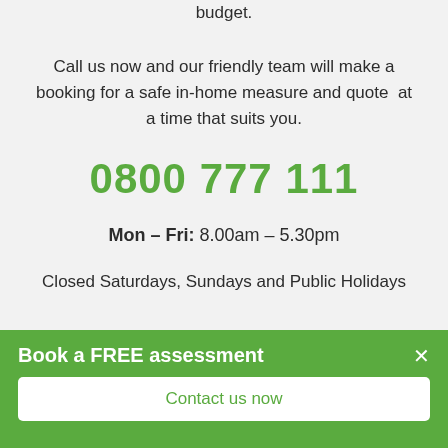and Heat Pumps that are best for you and your budget.
Call us now and our friendly team will make a booking for a safe in-home measure and quote at a time that suits you.
0800 777 111
Mon – Fri: 8.00am – 5.30pm
Closed Saturdays, Sundays and Public Holidays
Book a FREE assessment
Contact us now